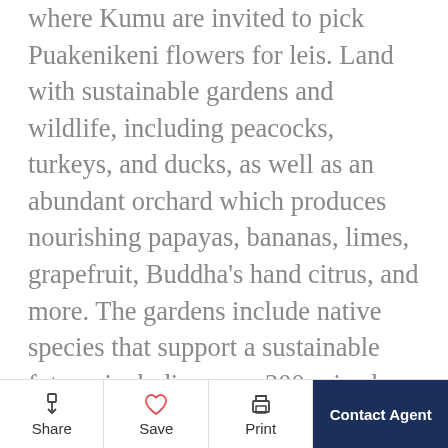where Kumu are invited to pick Puakenikeni flowers for leis. Land with sustainable gardens and wildlife, including peacocks, turkeys, and ducks, as well as an abundant orchard which produces nourishing papayas, bananas, limes, grapefruit, Buddha's hand citrus, and more. The gardens include native species that support a sustainable future, including over 300 prized Koa and Koa'ia trees, as well as 25 gorgeous Ohia Lehua which contribute towards preserving cultural traditions. The mountaintop vantage point is unparalleled in Maui, with its sweeping views of the central isthmus and the north and south shorelines. The gracious home opens to nature allowing trade winds to circulate for a natural, healthy open-air environment, and the use of clerestory windows brings outside light
Share | Save | Print | Contact Agent